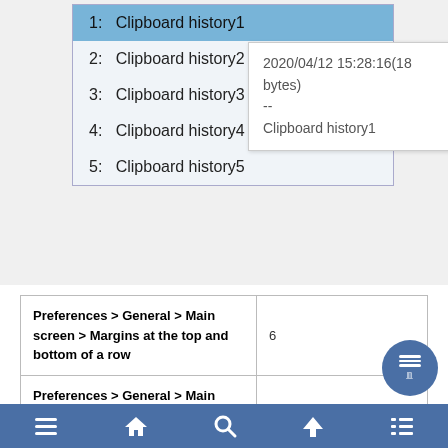1: Clipboard history1
2: Clipboard history2
3: Clipboard history3
4: Clipboard history4
5: Clipboard history5
2020/04/12 15:28:16(18 bytes)
--
Clipboard history1
|  |  |
| --- | --- |
| Preferences > General > Main screen > Margins at the top and bottom of a row | 6 |
| Preferences > General > Main screen > Hide tabs on the main screen | Check |
| Preferences > General > Main screen > Hide pg/page name on the main screen | Check |
≡  🏠  🔍  ↑  ≡